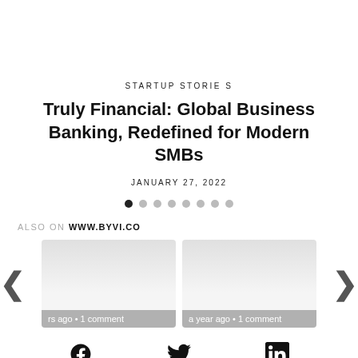STARTUP STORIES
Truly Financial: Global Business Banking, Redefined for Modern SMBs
JANUARY 27, 2022
[Figure (other): Pagination dots: 8 dots with first one filled/active]
ALSO ON WWW.BYVI.CO
[Figure (other): Two related article cards side by side with left and right navigation arrows. Left card shows: 'rs ago • 1 comment'. Right card shows: 'a year ago • 1 comment'.]
[Figure (other): Social sharing icons: Facebook, Twitter, LinkedIn]